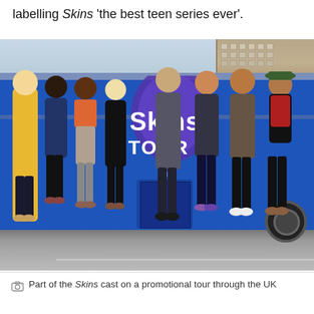labelling Skins 'the best teen series ever'.
[Figure (photo): Part of the Skins cast standing in front of a blue Skins Tour bus on a promotional tour through the UK. Eight young people are posed in front of the bus which has a large 'Skins Tour' logo on the side featuring a purple map of the UK.]
Part of the Skins cast on a promotional tour through the UK